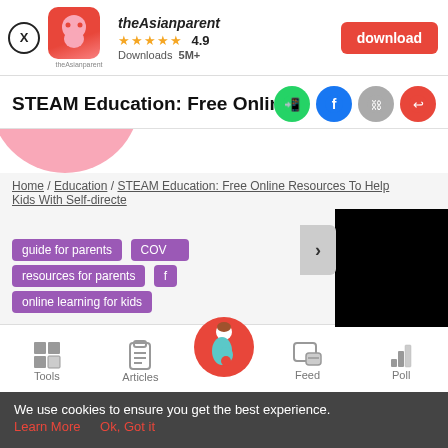[Figure (screenshot): App download banner with theAsianparent logo, rating 4.9 stars, 5M+ downloads, and red download button]
STEAM Education: Free Online Reso
[Figure (screenshot): Share icons: WhatsApp (green), Facebook (blue), link (grey), share (red)]
[Figure (illustration): Pink circular arc at top-left of content area]
Home / Education / STEAM Education: Free Online Resources To Help Kids With Self-directed
[Figure (screenshot): Black video player block with arrow navigation button]
guide for parents
COVID
resources for parents
f
online learning for kids
[Figure (screenshot): Bottom navigation bar with Tools, Articles, pregnant woman icon (center), Feed, Poll]
We use cookies to ensure you get the best experience.
Learn More   Ok, Got it